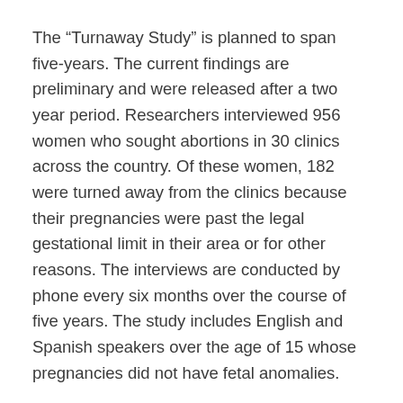The “Turnaway Study” is planned to span five-years. The current findings are preliminary and were released after a two year period. Researchers interviewed 956 women who sought abortions in 30 clinics across the country. Of these women, 182 were turned away from the clinics because their pregnancies were past the legal gestational limit in their area or for other reasons. The interviews are conducted by phone every six months over the course of five years. The study includes English and Spanish speakers over the age of 15 whose pregnancies did not have fetal anomalies.
Media Resources: i09 11/13/12; ThinkProgress 11/13/12; ANSIRH “Turnaway Study” visited 11/13/12